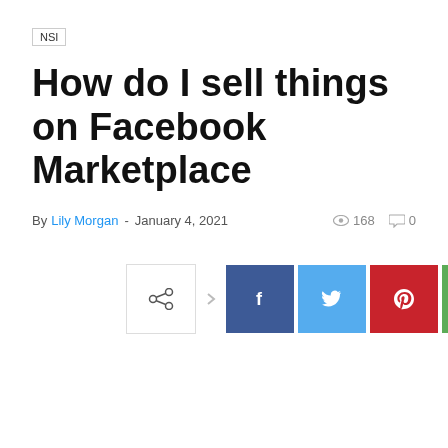NSI
How do I sell things on Facebook Marketplace
By Lily Morgan - January 4, 2021   168   0
[Figure (other): Social share buttons: share icon, Facebook, Twitter, Pinterest, WhatsApp, Email]